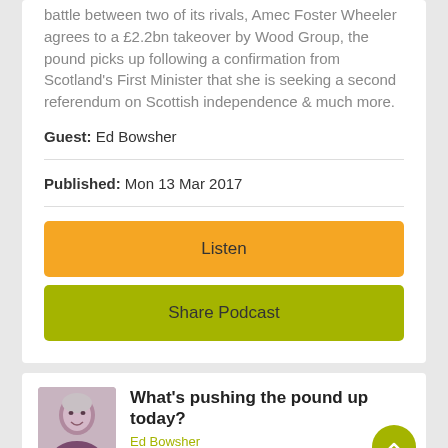battle between two of its rivals, Amec Foster Wheeler agrees to a £2.2bn takeover by Wood Group, the pound picks up following a confirmation from Scotland's First Minister that she is seeking a second referendum on Scottish independence & much more.
Guest: Ed Bowsher
Published: Mon 13 Mar 2017
Listen
Share Podcast
What's pushing the pound up today?
Ed Bowsher